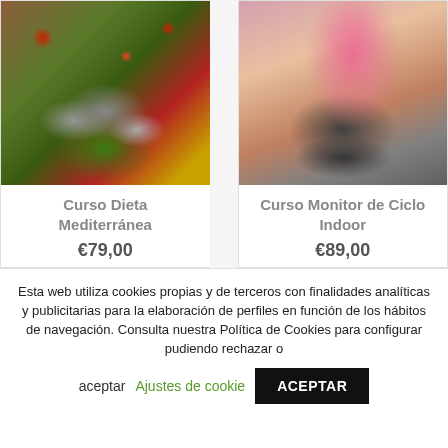[Figure (photo): Photo of Mediterranean food including fish, tomatoes, herbs and vegetables on a wooden surface]
Curso Dieta Mediterránea
€79,00
[Figure (photo): Photo of a woman in pink sportswear riding an indoor cycling bike at a gym]
Curso Monitor de Ciclo Indoor
€89,00
Esta web utiliza cookies propias y de terceros con finalidades analíticas y publicitarias para la elaboración de perfiles en función de los hábitos de navegación. Consulta nuestra Política de Cookies para configurar pudiendo rechazar o
aceptar
Ajustes de cookie
ACEPTAR